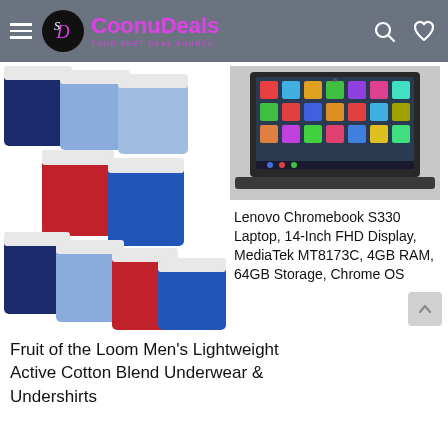CoonuDeals — YOUR BEST DEAL SOURCE
[Figure (photo): Fruit of the Loom Men's boxer briefs in navy, light blue, red, and royal blue colors, multiple pairs shown]
[Figure (photo): Lenovo Chromebook S330 laptop shown from above with screen displaying app icons]
Lenovo Chromebook S330 Laptop, 14-Inch FHD Display, MediaTek MT8173C, 4GB RAM, 64GB Storage, Chrome OS
Fruit of the Loom Men's Lightweight Active Cotton Blend Underwear & Undershirts